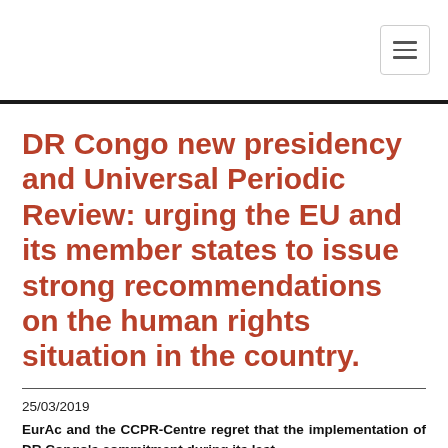DR Congo new presidency and Universal Periodic Review: urging the EU and its member states to issue strong recommendations on the human rights situation in the country.
25/03/2019
EurAc and the CCPR-Centre regret that the implementation of DR Congo's commitment during its last